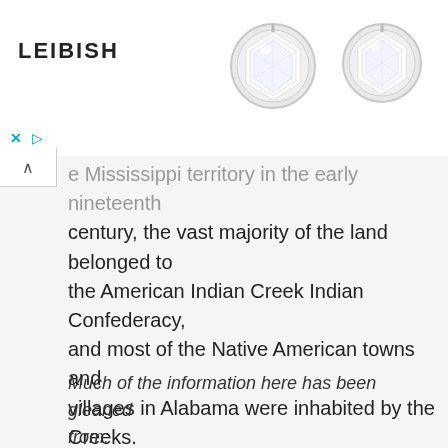[Figure (illustration): Advertisement banner for LEIBISH jewelry brand showing two round diamond stud earrings in bezel settings on white background with logo text LEIBISH on the left]
e Mississippi territory in the early nineteenth century, the vast majority of the land belonged to the American Indian Creek Indian Confederacy, and most of the Native American towns and villages in Alabama were inhabited by the Creeks. Indian towns and settlement patterns were recorded in the accounts of travelers who visited them.
Much of the information here has been gleaned from: